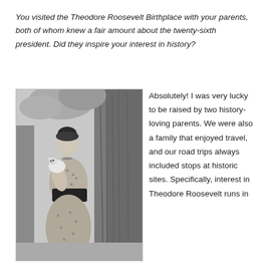You visited the Theodore Roosevelt Birthplace with your parents, both of whom knew a fair amount about the twenty-sixth president. Did they inspire your interest in history?
[Figure (photo): Black and white historical photograph of a woman in a Victorian-era dress holding a small white dog, standing in front of a large tree trunk.]
Absolutely! I was very lucky to be raised by two history-loving parents. We were also a family that enjoyed travel, and our road trips always included stops at historic sites. Specifically, interest in Theodore Roosevelt runs in